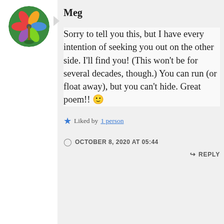[Figure (illustration): Circular avatar with colorful pinwheel/windmill illustration on green background]
Meg
Sorry to tell you this, but I have every intention of seeking you out on the other side. I'll find you! (This won't be for several decades, though.) You can run (or float away), but you can't hide. Great poem!! 🙂
★ Liked by 1 person
OCTOBER 8, 2020 AT 05:44
↳ REPLY